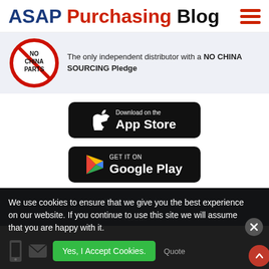ASAP Purchasing Blog
[Figure (infographic): No China Parts badge with circular red prohibition sign and text: The only independent distributor with a NO CHINA SOURCING Pledge]
[Figure (infographic): Download on the App Store button (black rounded rectangle with Apple logo)]
[Figure (infographic): GET IT ON Google Play button (black rounded rectangle with Play Store logo)]
Quick Links
Home
We use cookies to ensure that we give you the best experience on our website. If you continue to use this site we will assume that you are happy with it.